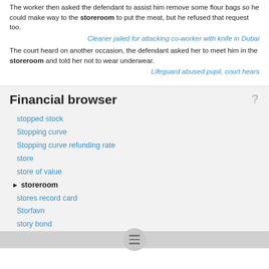The worker then asked the defendant to assist him remove some flour bags so he could make way to the storeroom to put the meat, but he refused that request too.
Cleaner jailed for attacking co-worker with knife in Dubai
The court heard on another occasion, the defendant asked her to meet him in the storeroom and told her not to wear underwear.
Lifeguard abused pupil, court hears
Financial browser
stopped stock
Stopping curve
Stopping curve refunding rate
store
store of value
storeroom
stores record card
Storfavn
story bond
Story stock/bond